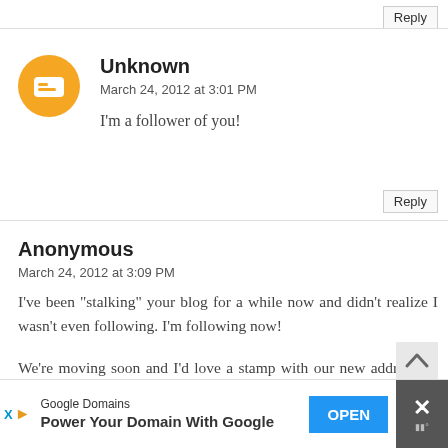Reply
Unknown
March 24, 2012 at 3:01 PM
I'm a follower of you!
Reply
Anonymous
March 24, 2012 at 3:09 PM
I've been "stalking" your blog for a while now and didn't realize I wasn't even following. I'm following now!
We're moving soon and I'd love a stamp with our new address on it!
Google Domains
Power Your Domain With Google
OPEN